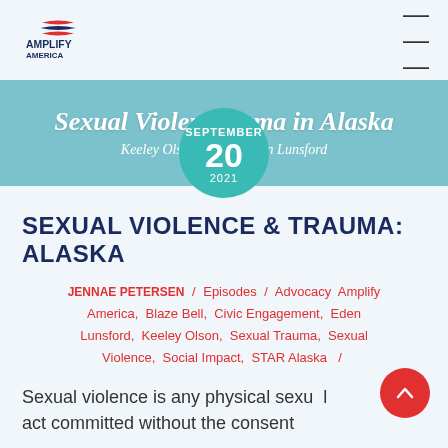AMPLIFY AMERICA
[Figure (other): Teal banner with italic serif text 'Sexual Violence & Trauma in Alaska' and authors 'Keeley Olson' and 'Eden Lunsford', overlaid with a teal circular date badge showing SEPTEMBER 20 2021]
SEXUAL VIOLENCE & TRAUMA: ALASKA
JENNAE PETERSEN / Episodes / Advocacy Amplify America, Blaze Bell, Civic Engagement, Eden Lunsford, Keeley Olson, Sexual Trauma, Sexual Violence, Social Impact, STAR Alaska /
Sexual violence is any physical sexual act committed without the consent o...